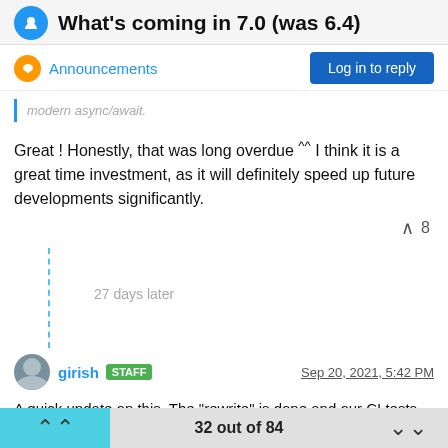What's coming in 7.0 (was 6.4)
Announcements
Log in to reply
modern async/await.
Great ! Honestly, that was long overdue ^^ I think it is a great time investment, as it will definitely speed up future developments significantly.
8
27 days later
girish STAFF  Sep 20, 2021, 5:42 PM
A quick update on this. The "rewrite" is done and our CI tests pass, so we can now proceed to implement new features.
32 out of 84